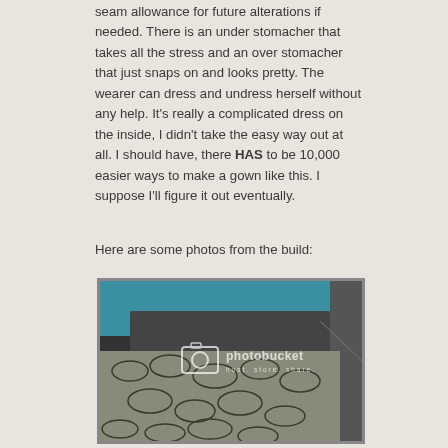seam allowance for future alterations if needed. There is an under stomacher that takes all the stress and an over stomacher that just snaps on and looks pretty. The wearer can dress and undress herself without any help. It's really a complicated dress on the inside, I didn't take the easy way out at all. I should have, there HAS to be 10,000 easier ways to make a gown like this. I suppose I'll figure it out eventually.
Here are some photos from the build:
[Figure (photo): A photograph showing fabric laid on a surface — appears to be a snake-skin patterned fabric next to dark/black fabric, with a teal/blue wall in the background. A Photobucket watermark overlay is visible in the center of the image.]